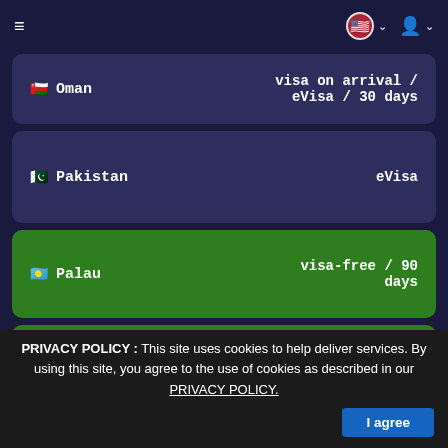Navigation bar with hamburger menu, US flag selector, and user account icon
| Country | Visa Requirement |
| --- | --- |
| 🇴🇲 Oman | visa on arrival / eVisa / 30 days |
| 🇵🇰 Pakistan | eVisa |
| 🇵🇼 Palau | visa-free / 90 days |
| 🇵🇸 Palestinian Territories | visa-free |
| 🇵🇦 Panama | visa-free / 180 days |
PRIVACY POLICY : This site uses cookies to help deliver services. By using this site, you agree to the use of cookies as described in our PRIVACY POLICY.